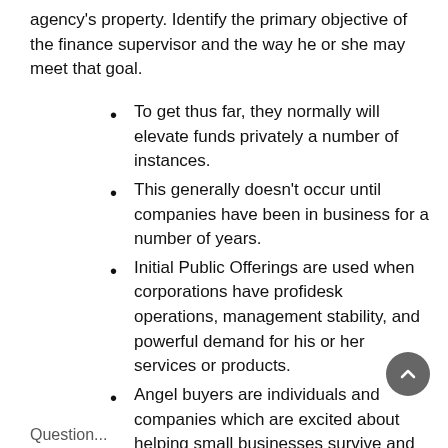agency's property. Identify the primary objective of the finance supervisor and the way he or she may meet that goal.
To get thus far, they normally will elevate funds privately a number of instances.
This generally doesn't occur until companies have been in business for a number of years.
Initial Public Offerings are used when corporations have profidesk operations, management stability, and powerful demand for his or her services or products.
Angel buyers are individuals and companies which are excited about helping small businesses survive and develop.
Although angel investors usually have somewhat of a mission focus, they're nonetheless interested in profitability and security for their funding.
Question...